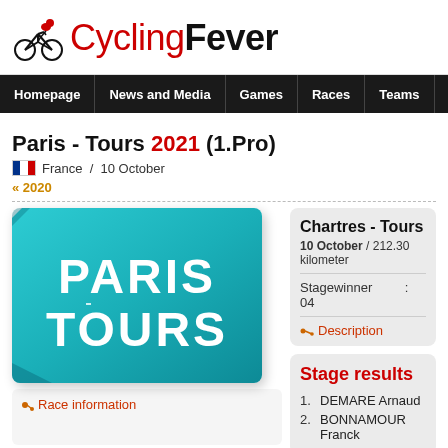[Figure (logo): CyclingFever logo with cyclist silhouette and red/black text]
Homepage | News and Media | Games | Races | Teams | Women | Tran
Paris - Tours 2021 (1.Pro)
France / 10 October
<< 2020
[Figure (logo): Paris-Tours race logo on teal/cyan folded banner background]
Chartres - Tours
10 October / 212.30 kilometer
Stagewinner : 04
Description
Stage results
Race information
1. DEMARE Arnaud
2. BONNAMOUR Franck